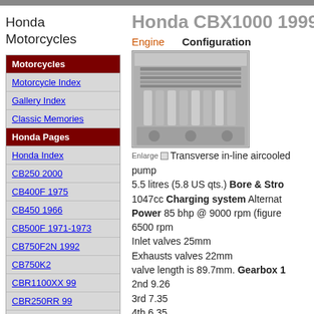Honda Motorcycles
Motorcycles
Motorcycle Index
Gallery Index
Classic Memories
Honda Pages
Honda Index
CB250 2000
CB400F 1975
CB450 1966
CB500F 1971-1973
CB750F2N 1992
CB750K2
CBR1100XX 99
CBR250RR 99
CBR600F4 99
CBR900RR 00
CBX1000
CR125 1997
Honda CBX1000 1999
Engine   Configuration
[Figure (photo): Close-up photograph of Honda CBX1000 engine showing inline 6-cylinder configuration with carburetors and pipes]
Enlarge   Transverse in-line aircooled pump
5.5 litres (5.8 US qts.) Bore & Stroke
1047cc Charging system Alternator
Power 85 bhp @ 9000 rpm (figure)
6500 rpm
Inlet valves 25mm
Exhausts valves 22mm
valve length is 89.7mm. Gearbox 1
2nd 9.26
3rd 7.35
4th 6.35